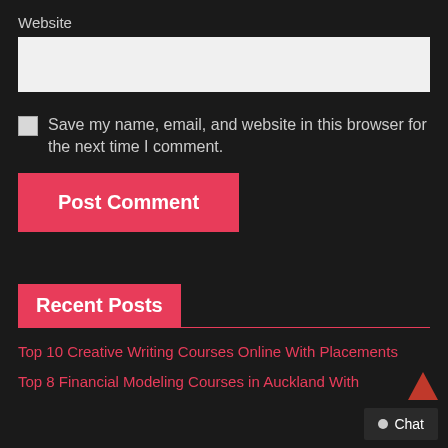Website
Save my name, email, and website in this browser for the next time I comment.
Post Comment
Recent Posts
Top 10 Creative Writing Courses Online With Placements
Top 8 Financial Modeling Courses in Auckland With